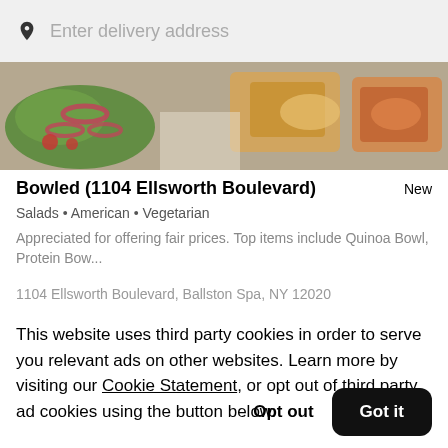Enter delivery address
[Figure (photo): Food photo showing a salad with red onion rings and lettuce on the left, and what appears to be sandwiches or bowls on the right]
Bowled (1104 Ellsworth Boulevard)
New
Salads • American • Vegetarian
Appreciated for offering fair prices. Top items include Quinoa Bowl, Protein Bow...
1104 Ellsworth Boulevard, Ballston Spa, NY 12020
This website uses third party cookies in order to serve you relevant ads on other websites. Learn more by visiting our Cookie Statement, or opt out of third party ad cookies using the button below.